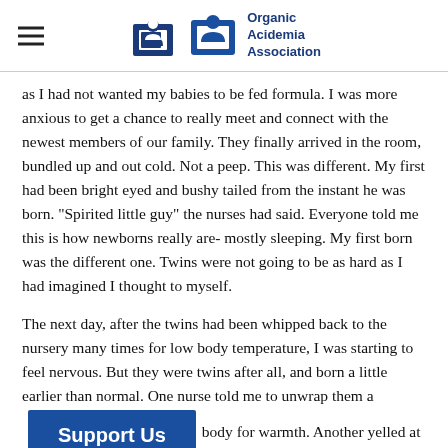Organic Acidemia Association
as I had not wanted my babies to be fed formula. I was more anxious to get a chance to really meet and connect with the newest members of our family. They finally arrived in the room, bundled up and out cold. Not a peep. This was different. My first had been bright eyed and bushy tailed from the instant he was born. "Spirited little guy" the nurses had said. Everyone told me this is how newborns really are- mostly sleeping. My first born was the different one. Twins were not going to be as hard as I had imagined I thought to myself.
The next day, after the twins had been whipped back to the nursery many times for low body temperature, I was starting to feel nervous. But they were twins after all, and born a little earlier than normal. One nurse told me to unwrap them and place them on my body for warmth. Another yelled at me for doing just that. I was hardly